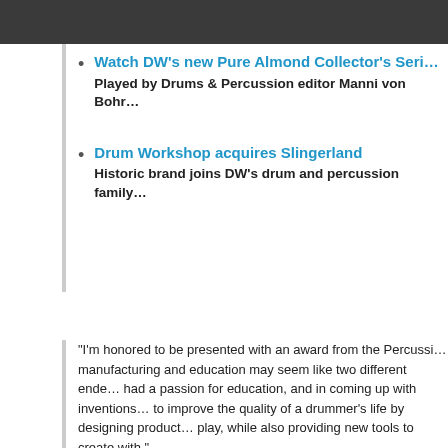Watch DW's new Pure Almond Collector's Seri… — Played by Drums & Percussion editor Manni von Bohr
Drum Workshop acquires Slingerland — Historic brand joins DW's drum and percussion family
"I'm honored to be presented with an award from the Percussi… manufacturing and education may seem like two different ende… had a passion for education, and in coming up with inventions… to improve the quality of a drummer's life by designing product… play, while also providing new tools to create with."
- Don Lombardi
"We're absolutely thrilled for Don to receive this much-deserve… everyone at DW knows how important and influential Don is as…